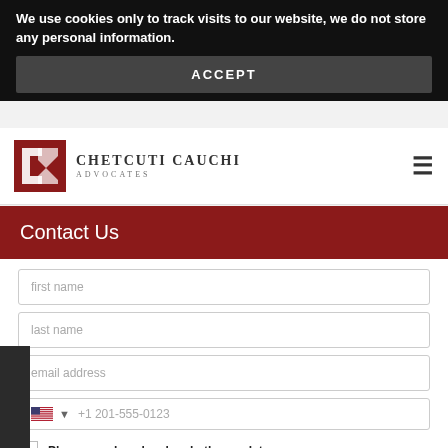We use cookies only to track visits to our website, we do not store any personal information.
ACCEPT
[Figure (logo): Chetcuti Cauchi Advocates logo — red geometric mark with CC initials and firm name]
Contact Us
first name
last name
email address
+1 201-555-0123
Please send me legal and other updates
your message